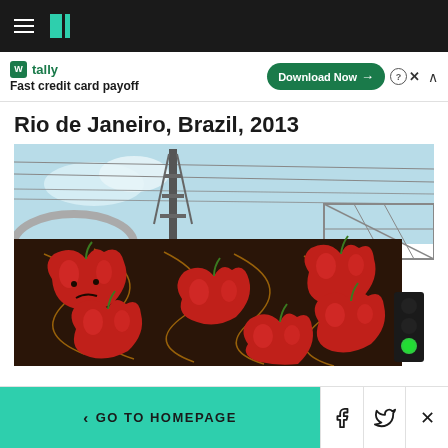HuffPost navigation bar with hamburger menu and logo
[Figure (screenshot): Tally advertisement banner: tally logo, 'Fast credit card payoff', 'Download Now' button]
Rio de Janeiro, Brazil, 2013
[Figure (photo): Photograph of a large outdoor mural/billboard in Rio de Janeiro, 2013, showing red heart-shaped apples with frowning faces on a dark brown background with golden swirl patterns. Metal scaffolding and power lines visible above. A traffic light is visible in the lower right.]
< GO TO HOMEPAGE | Facebook share | Twitter share | Close